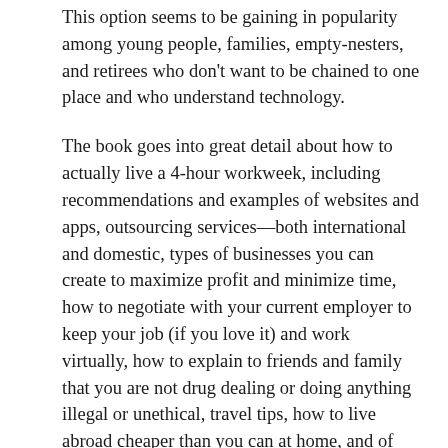This option seems to be gaining in popularity among young people, families, empty-nesters, and retirees who don't want to be chained to one place and who understand technology.
The book goes into great detail about how to actually live a 4-hour workweek, including recommendations and examples of websites and apps, outsourcing services—both international and domestic, types of businesses you can create to maximize profit and minimize time, how to negotiate with your current employer to keep your job (if you love it) and work virtually, how to explain to friends and family that you are not drug dealing or doing anything illegal or unethical, travel tips, how to live abroad cheaper than you can at home, and of course there are some time management and productivity hacks. The e-book version has hyperlinks throughout to the resources mentioned.